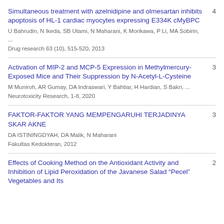Simultaneous treatment with azelnidipine and olmesartan inhibits apoptosis of HL-1 cardiac myocytes expressing E334K cMyBPC | U Bahrudin, N Ikeda, SB Utami, N Maharani, K Morikawa, P Li, MA Sobirin, ... | Drug research 63 (10), 515-520, 2013 | 4
Activation of MIP-2 and MCP-5 Expression in Methylmercury-Exposed Mice and Their Suppression by N-Acetyl-L-Cysteine | M Muniroh, AR Gumay, DA Indraswari, Y Bahtiar, H Hardian, S Bakri, ... | Neurotoxicity Research, 1-8, 2020 | 3
FAKTOR-FAKTOR YANG MEMPENGARUHI TERJADINYA SKAR AKNE | DA ISTININGDYAH, DA Malik, N Maharani | Fakultas Kedokteran, 2012 | 3
Effects of Cooking Method on the Antioxidant Activity and Inhibition of Lipid Peroxidation of the Javanese Salad “Pecel” Vegetables and Its | 2